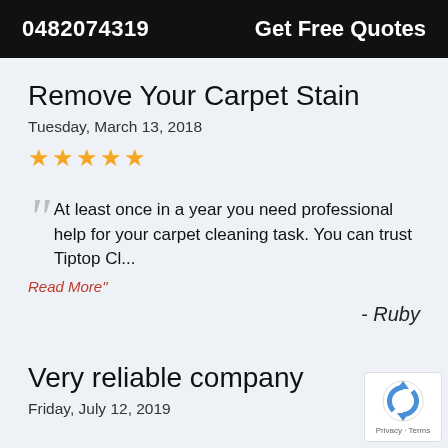0482074319   Get Free Quotes
Remove Your Carpet Stain
Tuesday, March 13, 2018
[Figure (other): Five gold star rating]
At least once in a year you need professional help for your carpet cleaning task. You can trust Tiptop Cl...
Read More"
- Ruby
Very reliable company
Friday, July 12, 2019
[Figure (logo): Google reCAPTCHA badge with logo and Privacy - Terms links]